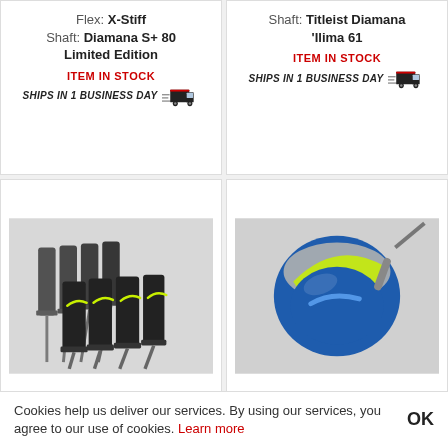Flex: X-Stiff
Shaft: Diamana S+ 80 Limited Edition
ITEM IN STOCK
SHIPS IN 1 BUSINESS DAY
Shaft: Titleist Diamana 'Ilima 61
ITEM IN STOCK
SHIPS IN 1 BUSINESS DAY
[Figure (photo): Set of Nike golf irons on gray background]
[Figure (photo): Blue and green Nike fairway wood golf club head on gray background]
Cookies help us deliver our services. By using our services, you agree to our use of cookies. Learn more
OK